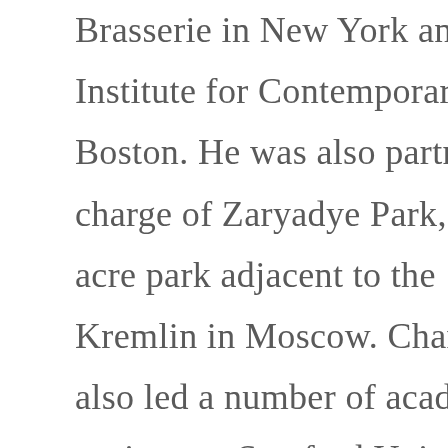Brasserie in New York and the Institute for Contemporary Art in Boston. He was also partner-in-charge of Zaryadye Park, a 35-acre park adjacent to the Kremlin in Moscow. Charles has also led a number of academic projects at Stanford University, UC Berkeley, and Brown University and is currently designing new facilities for Columbia University, the University of Chicago, and the University of Toronto. Outside of the Americas, Charles is leading the design of the Museum of